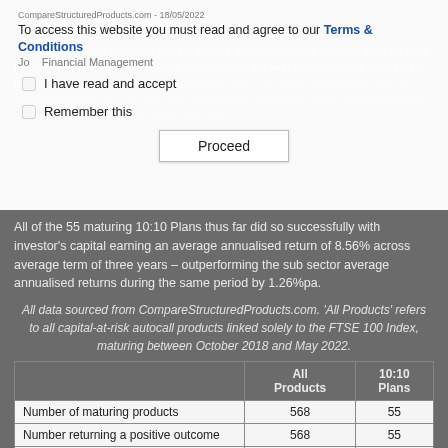CompareStructuredProducts.com - 18/05/2022
To access this website you must read and agree to our Terms & Conditions
Jo Financial Management
The Mariana 10:10 Plan May 2019 (Option 1 & 2) successfully matured early on their third anniversary (18th May 2022), making them the 54th and 55th FTSE only 10:10 Plans to mature since first being in October 2018. The plans matured returning an annualised return of 7.6% and 9.8% respectively, despite the FTSE 100 Index being approximately 55% over the three-year term.
I have read and accept
Remember this
Proceed
All of the 55 maturing 10:10 Plans thus far did so successfully with investor's capital earning an average annualised return of 8.56% across average term of three years – outperforming the sub sector average annualised returns during the same period by 1.26%pa.
All data sourced from CompareStructuredProducts.com. 'All Products' refers to all capital-at-risk autocall products linked solely to the FTSE 100 Index, maturing between October 2018 and May 2022.
|  | All Products | 10:10 Plans |
| --- | --- | --- |
| Number of maturing products | 568 | 55 |
| Number returning a positive outcome | 568 | 55 |
| Number returning capital only | 0 | 0 |